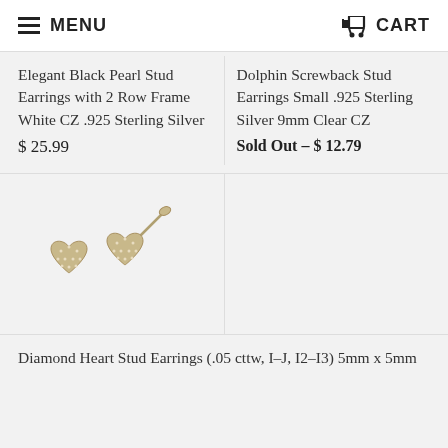MENU  CART
Elegant Black Pearl Stud Earrings with 2 Row Frame White CZ .925 Sterling Silver
$ 25.99
Dolphin Screwback Stud Earrings Small .925 Sterling Silver 9mm Clear CZ
Sold Out – $ 12.79
[Figure (photo): Two small diamond heart stud earrings in gold/silver tone with pave setting, shown side by side with one earring on its post]
Diamond Heart Stud Earrings (.05 cttw, I–J, I2–I3) 5mm x 5mm